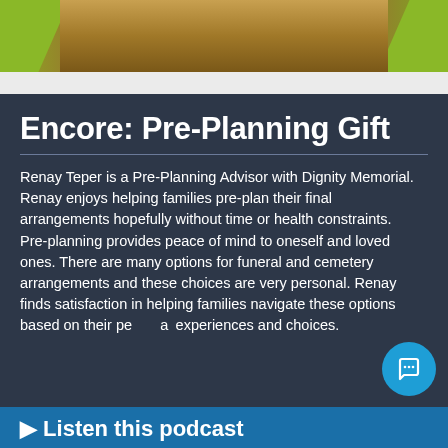[Figure (photo): Top portion of an outdoor photo showing a path with green grass/shrubs on the sides and sandy/dirt ground, partially cropped]
Encore: Pre-Planning Gift
Renay Teper is a Pre-Planning Advisor with Dignity Memorial. Renay enjoys helping families pre-plan their final arrangements hopefully without time or health constraints. Pre-planning provides peace of mind to oneself and loved ones. There are many options for funeral and cemetery arrangements and these choices are very personal. Renay finds satisfaction in helping families navigate these options based on their personal experiences and choices.
Listen this podcast